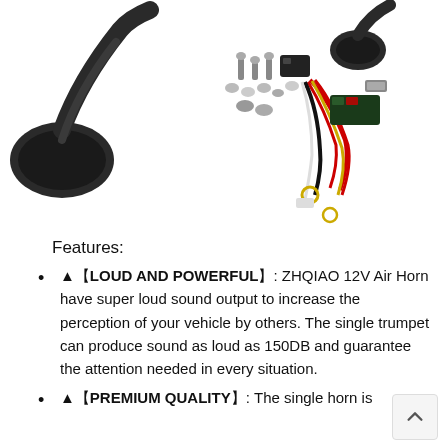[Figure (photo): Product photo showing two black trumpet air horns, mounting hardware (bolts, nuts, washers), a relay module, and a wiring harness with red, black, yellow, and white wires with connectors, all arranged on a white background.]
Features:
▲【LOUD AND POWERFUL】: ZHQIAO 12V Air Horn have super loud sound output to increase the perception of your vehicle by others. The single trumpet can produce sound as loud as 150DB and guarantee the attention needed in every situation.
▲【PREMIUM QUALITY】: The single horn is